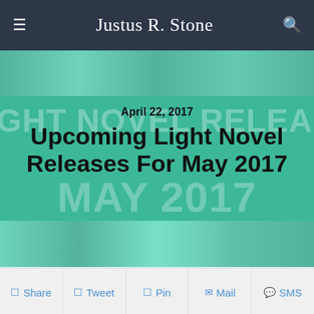Justus R. Stone
[Figure (illustration): Banner image with anime-style book covers in teal/green tinted overlay, showing light novel covers]
April 22, 2017
Upcoming Light Novel Releases For May 2017
Share  Tweet  Pin  Mail  SMS
These are the light novels releasing in the month of May, 2017.
May 4 2017
In Another World With My Smartphone